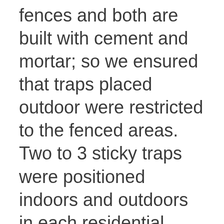fences and both are built with cement and mortar; so we ensured that traps placed outdoor were restricted to the fenced areas. Two to 3 sticky traps were positioned indoors and outdoors in each residential building for 2 to 3 days and checked at intervals (between 5 and 6 hr). When catches were made, these